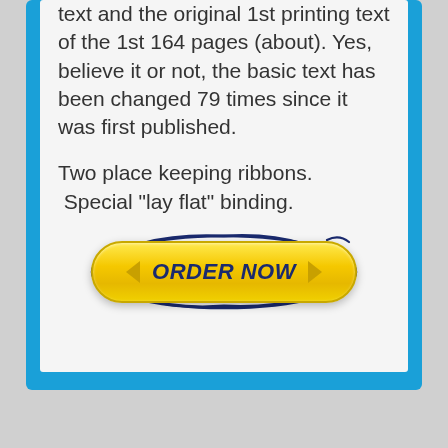text and the original 1st printing text of the 1st 164 pages (about). Yes, believe it or not, the basic text has been changed 79 times since it was first published.
Two place keeping ribbons.  Special "lay flat" binding.
[Figure (other): Yellow pill-shaped ORDER NOW button with dark blue italic bold text and arrow icons on each side, surrounded by a hand-drawn dark blue oval ellipse]